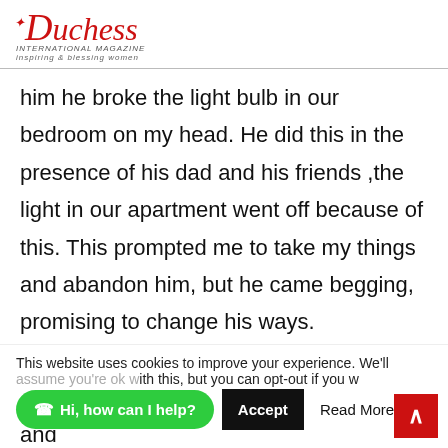Duchess International Magazine – inspiring & blessing women
him he broke the light bulb in our bedroom on my head. He did this in the presence of his dad and his friends ,the light in our apartment went off because of this. This prompted me to take my things and abandon him, but he came begging, promising to change his ways.

I came back to the house after a week and
This website uses cookies to improve your experience. We'll assume you're ok with this, but you can opt-out if you wish.
Hi, how can I help?
Accept
Read More